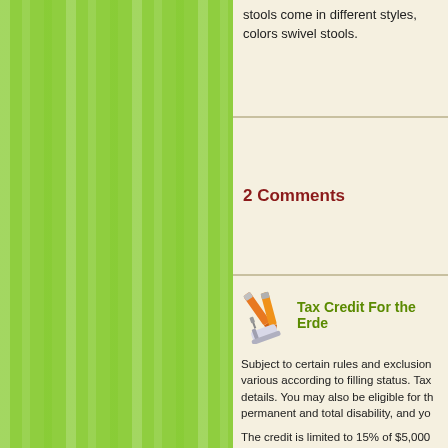stools come in different styles, colors swivel stools.
2 Comments
Tax Credit For the Erde
Subject to certain rules and exclusion various according to filling status. Tax details. You may also be eligible for th permanent and total disability, and yo
The credit is limited to 15% of $5,000 taxpayers filling a joint returns when c retired on permanent and total disabi return if both are 65 or older, or 1 is 6 and total disability, or both are under and 15% of $3,750 for a married taxp retired on permanent and total disabi amounts, the credit is limited to 15%